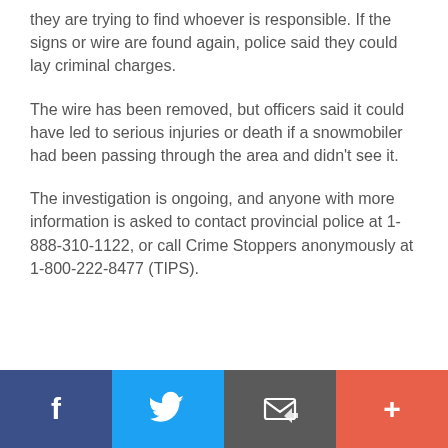they are trying to find whoever is responsible. If the signs or wire are found again, police said they could lay criminal charges.
The wire has been removed, but officers said it could have led to serious injuries or death if a snowmobiler had been passing through the area and didn't see it.
The investigation is ongoing, and anyone with more information is asked to contact provincial police at 1-888-310-1122, or call Crime Stoppers anonymously at 1-800-222-8477 (TIPS).
[Figure (infographic): Social sharing footer bar with four buttons: Facebook (dark blue), Twitter (light blue), Email/message (dark gray), and Plus/more (orange-red)]